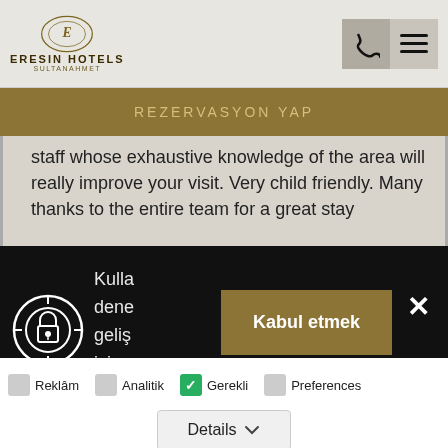[Figure (logo): Eresin Hotels Sultanahmet logo with oval emblem and hotel name text]
REZERVASYON YAP
staff whose exhaustive knowledge of the area will really improve your visit. Very child friendly. Many thanks to the entire team for a great stay
[Figure (illustration): Cookie consent overlay with lock/shield icon, Turkish cookie consent text 'Kulla dene geliş için bu sited', Kabul etmek (Accept) button, and close X button]
Kulla dene geliş için bu sited
Kabul etmek
Reklâm
Analitik
Gerekli
Preferences
Details